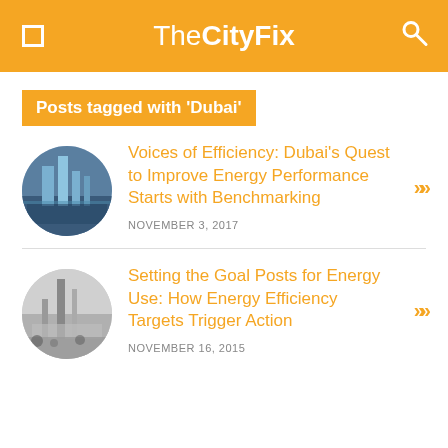TheCityFix
Posts tagged with 'Dubai'
Voices of Efficiency: Dubai's Quest to Improve Energy Performance Starts with Benchmarking — NOVEMBER 3, 2017
Setting the Goal Posts for Energy Use: How Energy Efficiency Targets Trigger Action — NOVEMBER 16, 2015